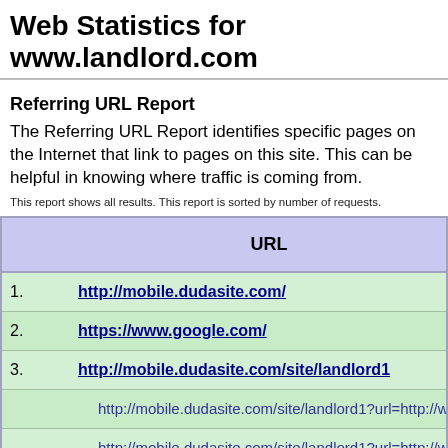Web Statistics for www.landlord.com
Referring URL Report
The Referring URL Report identifies specific pages on the Internet that link to pages on this site. This can be helpful in knowing where traffic is coming from.
This report shows all results. This report is sorted by number of requests.
|  | URL |
| --- | --- |
| 1. | http://mobile.dudasite.com/ |
| 2. | https://www.google.com/ |
| 3. | http://mobile.dudasite.com/site/landlord1 |
|  | http://mobile.dudasite.com/site/landlord1?url=http://w... |
|  | http://mobile.dudasite.com/site/landlord1?url=http://w... |